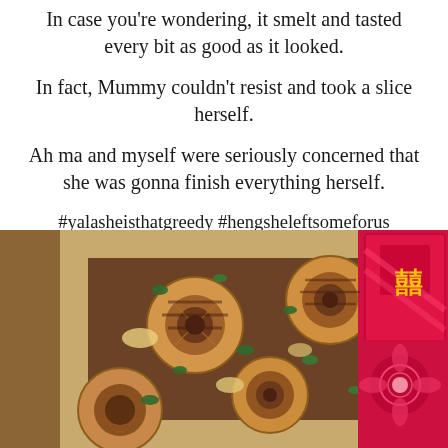In case you're wondering, it smelt and tasted every bit as good as it looked.
In fact, Mummy couldn't resist and took a slice herself.
Ah ma and myself were seriously concerned that she was gonna finish everything herself.
#yalasheisthatgreedy #hengsheleftsomeforus #elsewesureblackfacewholeCNY
[Figure (photo): Overhead view of a baked dish with grilled pineapple rings, chopped herbs (mint/parsley), and meat filling in a pastry crust, alongside red Chinese New Year envelopes (ang pao) with decorative floral patterns.]